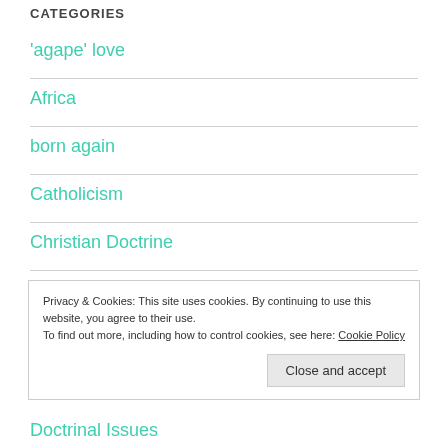CATEGORIES
'agape' love
Africa
born again
Catholicism
Christian Doctrine
Privacy & Cookies: This site uses cookies. By continuing to use this website, you agree to their use. To find out more, including how to control cookies, see here: Cookie Policy
Doctrinal Issues